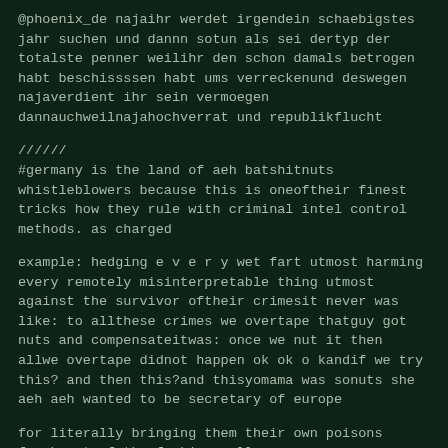@phoenix_de najaihr werdet irgendein schaebigstes jahr suchen und dannn sotun als sei dertyp der totalste penner weilihr den schon damals betrogen habt beschissssen habt ums verreckenund deswegen najaverdient ihr sein vermoegen dannauchweilnajahochverrat und republikflucht
//////
#germany is the land of aeh batshitnuts whistleblowers because this is oneoftheir finest tricks how they rule with criminal intel control methods. as charged
example: hedging e v e r y wet fart utmost harming every remotely misinterpretable thing utmost against the survivor oftheir crimesit never was like: to allthese crimes we overtape thatguy got nuts and compensateitwas: once we nut it then allwe overtape didnot happen ok ok o kandif we try this? and then this?and thisyomama was sonuts she aeh aeh wanted to be secretary of europe
for literally bringing them their own poisons fresh out of the fucking wall